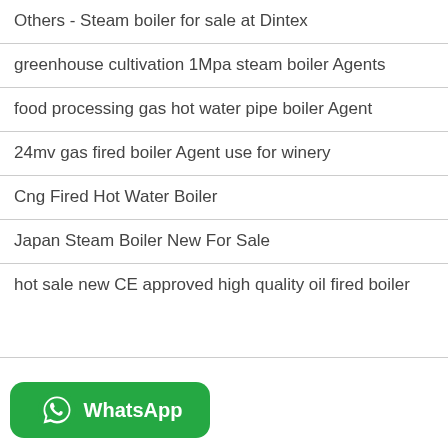Others - Steam boiler for sale at Dintex
greenhouse cultivation 1Mpa steam boiler Agents
food processing gas hot water pipe boiler Agent
24mv gas fired boiler Agent use for winery
Cng Fired Hot Water Boiler
Japan Steam Boiler New For Sale
hot sale new CE approved high quality oil fired boiler
[Figure (logo): WhatsApp green button with WhatsApp logo icon and text 'WhatsApp']